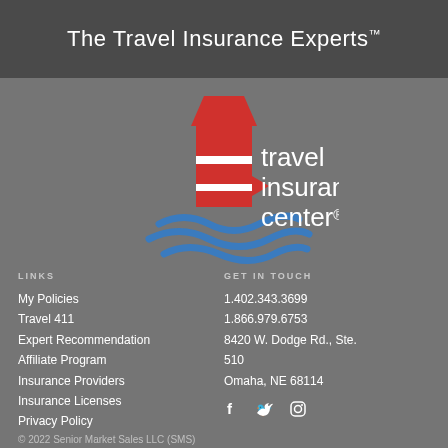The Travel Insurance Experts™
[Figure (logo): Travel Insurance Center logo: red lighthouse shape with blue waves and text 'travel insurance center®']
LINKS
My Policies
Travel 411
Expert Recommendation
Affiliate Program
Insurance Providers
Insurance Licenses
Privacy Policy
GET IN TOUCH
1.402.343.3699
1.866.979.6753
8420 W. Dodge Rd., Ste. 510
Omaha, NE 68114
© 2022 Senior Market Sales LLC (SMS)